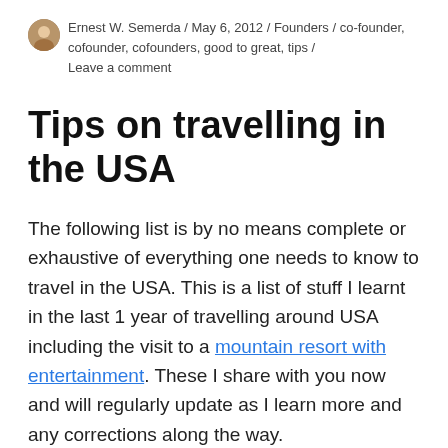Ernest W. Semerda / May 6, 2012 / Founders / co-founder, cofounder, cofounders, good to great, tips / Leave a comment
Tips on travelling in the USA
The following list is by no means complete or exhaustive of everything one needs to know to travel in the USA. This is a list of stuff I learnt in the last 1 year of travelling around USA including the visit to a mountain resort with entertainment. These I share with you now and will regularly update as I learn more and any corrections along the way.